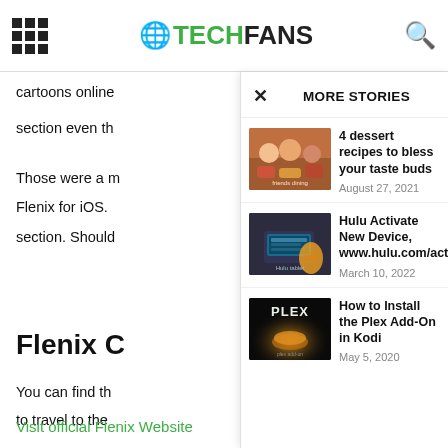TECHFANS
cartoons online
section even th
Those were a m
Flenix for iOS.
section. Should
Flenix C
You can find th
to travel to the
Visit official Flenix Website
MORE STORIES
[Figure (photo): Group of friends at a restaurant celebrating with desserts]
4 dessert recipes to bless your taste buds
August 27, 2021
[Figure (photo): Person holding a tablet with Hulu streaming interface]
Hulu Activate New Device, www.hulu.com/activate
March 10, 2022
[Figure (photo): Plex logo with glowing button on dark background]
How to Install the Plex Add-On in Kodi
May 5, 2020